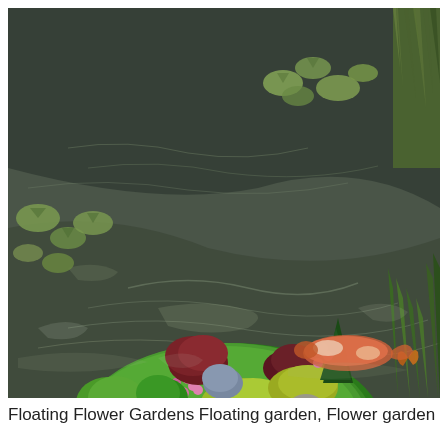[Figure (photo): A floating garden island in a pond, featuring various colorful flowers including yellow daisies, pink blooms, burgundy and green shrubs, and driftwood arranged on a mossy green floating platform. Lily pads float on the surrounding water, koi fish are visible in the lower right, and aquatic grasses grow at the edges.]
Floating Flower Gardens Floating garden, Flower garden